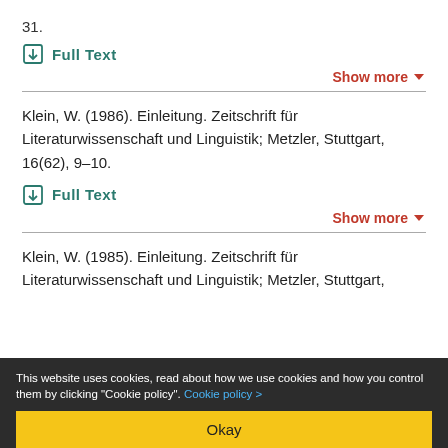31.
Full Text
Show more
Klein, W. (1986). Einleitung. Zeitschrift für Literaturwissenschaft und Linguistik; Metzler, Stuttgart, 16(62), 9–10.
Full Text
Show more
Klein, W. (1985). Einleitung. Zeitschrift für Literaturwissenschaft und Linguistik; Metzler, Stuttgart,
This website uses cookies, read about how we use cookies and how you control them by clicking "Cookie policy". Cookie policy >
Okay